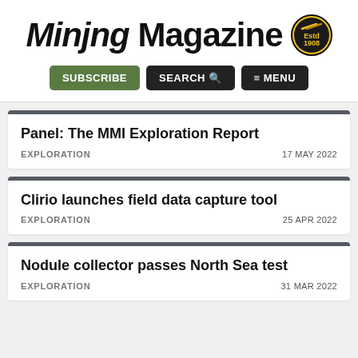Mining Magazine
Panel: The MMI Exploration Report
EXPLORATION  17 MAY 2022
Clirio launches field data capture tool
EXPLORATION  25 APR 2022
Nodule collector passes North Sea test
EXPLORATION  31 MAR 2022